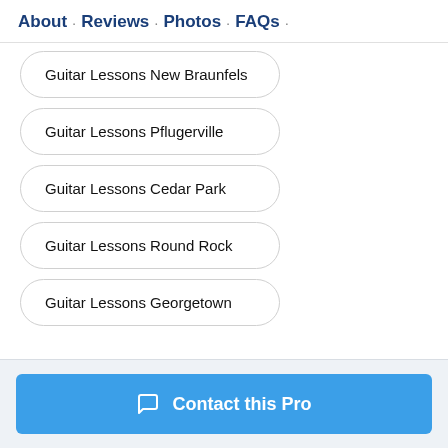About · Reviews · Photos · FAQs ·
Guitar Lessons New Braunfels
Guitar Lessons Pflugerville
Guitar Lessons Cedar Park
Guitar Lessons Round Rock
Guitar Lessons Georgetown
Contact this Pro